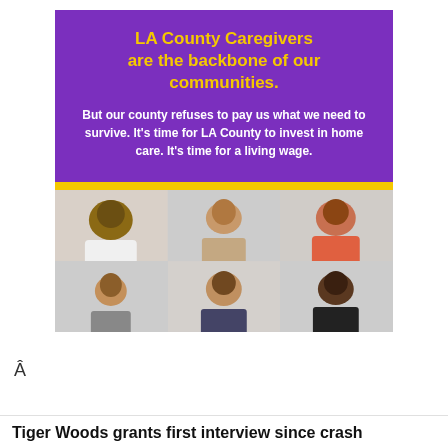[Figure (infographic): LA County Caregivers advocacy poster with purple background, yellow title text reading 'LA County Caregivers are the backbone of our communities.', white body text, yellow bar separator, and grid of 6 portrait photos of diverse caregivers]
Â
Tiger Woods grants first interview since crash